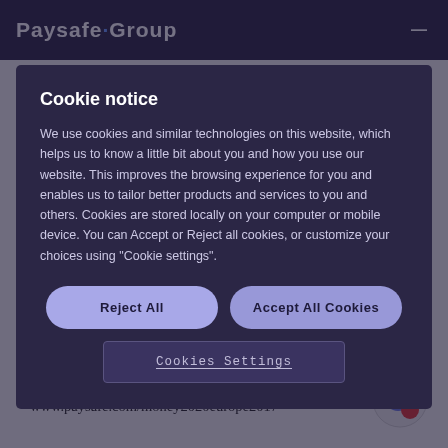Paysafe Group
Cookie notice
We use cookies and similar technologies on this website, which helps us to know a little bit about you and how you use our website. This improves the browsing experience for you and enables us to tailor better products and services to you and others. Cookies are stored locally on your computer or mobile device. You can Accept or Reject all cookies, or customize your choices using "Cookie settings".
Reject All
Accept All Cookies
Cookies Settings
5. Drive inclusion by utilising new digitised cash solutions
The Five Proven Strategies to Achieve Cross-Border E-commerce Growth whitepaper can be downloaded from: www.paysafe.com/money2020europe2017